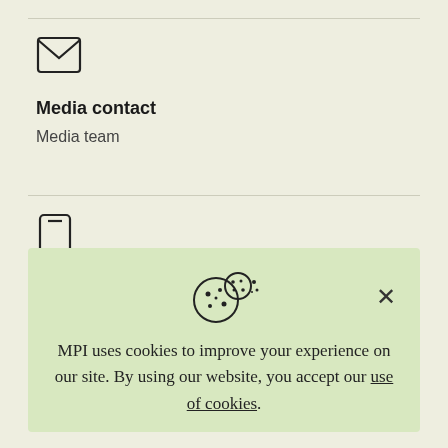[Figure (illustration): Envelope/mail icon (outline style)]
Media contact
Media team
[Figure (illustration): Mobile phone / smartphone icon (outline style)]
[Figure (illustration): Cookie consent banner with cookie icon, close X button, and text: MPI uses cookies to improve your experience on our site. By using our website, you accept our use of cookies.]
MPI uses cookies to improve your experience on our site. By using our website, you accept our use of cookies.